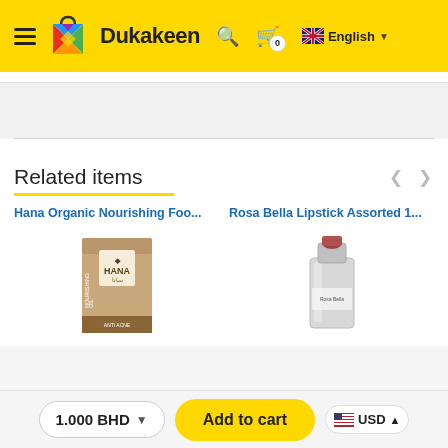[Figure (logo): Dukakeen e-commerce website header with yellow background, hamburger menu, colorful shopping bag logo, Dukakeen brand name, search icon, cart icon with 0 badge, and English language selector with UK flag]
Related items
Hana Organic Nourishing Foo...
Rosa Bella Lipstick Assorted 1...
[Figure (photo): Hana Organic Nourishing product box - brown/tan colored packaging with HANA logo and text showing NOURISHING OIL]
[Figure (photo): Rosa Bella Lipstick Assorted product - silver metallic lipstick tube]
1.000 BHD
Add to cart
USD